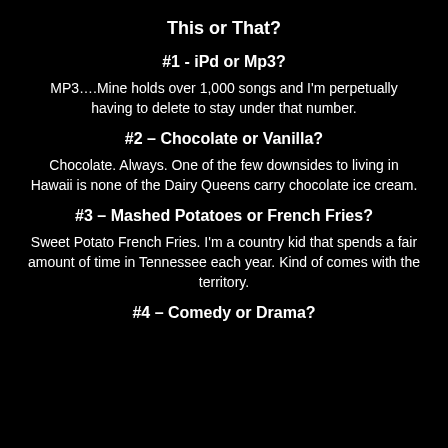This or That?
#1 - iPd or Mp3?
MP3….Mine holds over 1,000 songs and I'm perpetually having to delete to stay under that number.
#2 – Chocolate or Vanilla?
Chocolate. Always. One of the few downsides to living in Hawaii is none of the Dairy Queens carry chocolate ice cream.
#3 – Mashed Potatoes or French Fries?
Sweet Potato French Fries. I'm a country kid that spends a fair amount of time in Tennessee each year. Kind of comes with the territory.
#4 – Comedy or Drama?